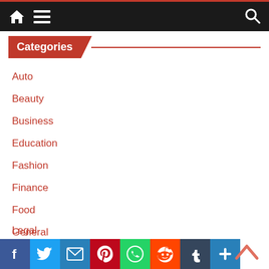Navigation bar with home, menu, and search icons
Categories
Auto
Beauty
Business
Education
Fashion
Finance
Food
General
Health
Legal